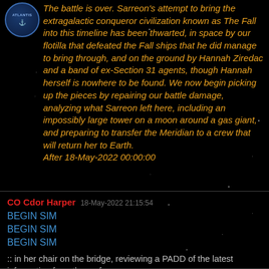[Figure (logo): Circular logo with 'ATLANTIS' text arc, blue and gold design]
The battle is over. Sarreon's attempt to bring the extragalactic conqueror civilization known as The Fall into this timeline has been thwarted, in space by our flotilla that defeated the Fall ships that he did manage to bring through, and on the ground by Hannah Ziredac and a band of ex-Section 31 agents, though Hannah herself is nowhere to be found. We now begin picking up the pieces by repairing our battle damage, analyzing what Sarreon left here, including an impossibly large tower on a moon around a gas giant, and preparing to transfer the Meridian to a crew that will return her to Earth.
After 18-May-2022 00:00:00
CO Cdor Harper  18-May-2022 21:15:54
BEGIN SIM
BEGIN SIM
BEGIN SIM
:: in her chair on the bridge, reviewing a PADD of the latest information from the surface ::